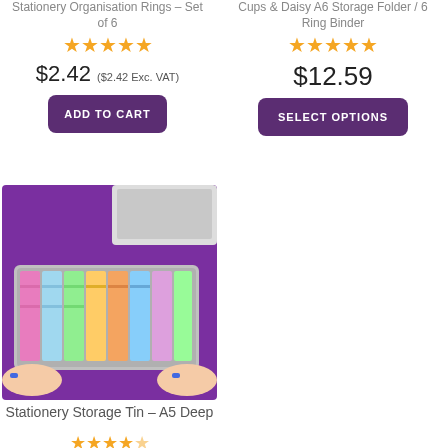Stationery Organisation Rings – Set of 6
[Figure (other): 5-star rating in yellow stars]
$2.42 ($2.42 Exc. VAT)
ADD TO CART
Cups & Daisy A6 Storage Folder / 6 Ring Binder
[Figure (other): 5-star rating in yellow stars]
$12.59
SELECT OPTIONS
[Figure (photo): Photo of a tin box filled with colorful washi tape rolls held by hands with blue nails against a purple background]
Stationery Storage Tin – A5 Deep
[Figure (other): Partial star rating in yellow stars]